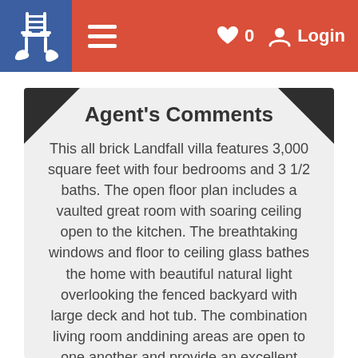Navigation bar with logo, hamburger menu, heart icon (0), and Login
Agent's Comments
This all brick Landfall villa features 3,000 square feet with four bedrooms and 3 1/2 baths. The open floor plan includes a vaulted great room with soaring ceiling open to the kitchen. The breathtaking windows and floor to ceiling glass bathes the home with beautiful natural light overlooking the fenced backyard with large deck and hot tub. The combination living room anddining areas are open to one another and provide an excellent space for entertaining. All bedrooms are located on the second floor including a spacious master